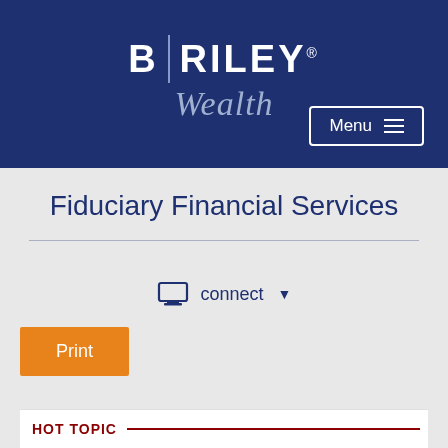[Figure (logo): B|RILEY Wealth logo — white bold text 'B|RILEY' with vertical divider, italic 'Wealth' below, on dark navy background]
Fiduciary Financial Services
connect ▼
Print
HOT TOPIC